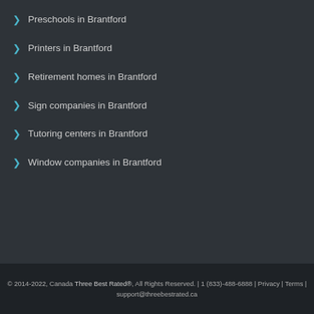Preschools in Brantford
Printers in Brantford
Retirement homes in Brantford
Sign companies in Brantford
Tutoring centers in Brantford
Window companies in Brantford
© 2014-2022, Canada Three Best Rated®, All Rights Reserved. | 1 (833)-488-6888 | Privacy | Terms | support@threebestrated.ca